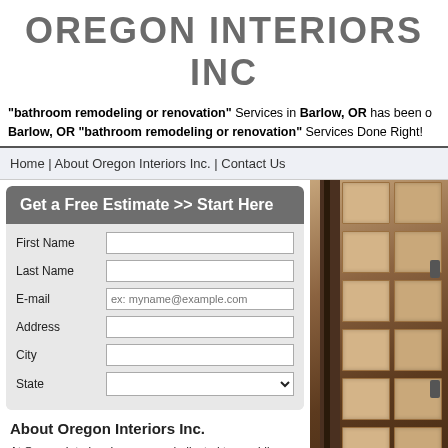OREGON INTERIORS INC
"bathroom remodeling or renovation" Services in Barlow, OR has been Barlow, OR "bathroom remodeling or renovation" Services Done Right!
Home | About Oregon Interiors Inc. | Contact Us
Get a Free Estimate >> Start Here
First Name
Last Name
E-mail
Address
City
State
About Oregon Interiors Inc.
At Oregon Interiors Inc. we are dedicated to providing the highest quality, most professional bathroom remodeling or renovation services in the Barlow, OR area. Our company is based on the belief that our customers needs are of the utmost importance. Our entire team is committed to
[Figure (photo): Photo of stone tile wall with dark wood door frame and metal hinges]